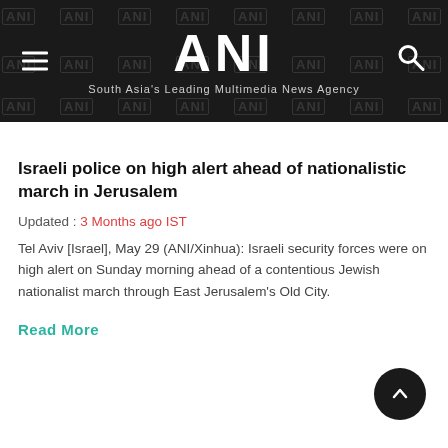ANI — South Asia's Leading Multimedia News Agency
Israeli police on high alert ahead of nationalistic march in Jerusalem
Updated : 3 Months ago IST
Tel Aviv [Israel], May 29 (ANI/Xinhua): Israeli security forces were on high alert on Sunday morning ahead of a contentious Jewish nationalist march through East Jerusalem's Old City.
Read More